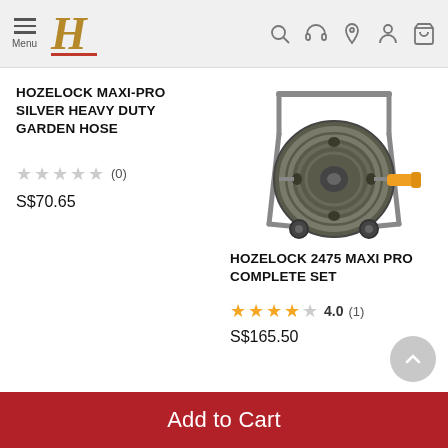Menu | H logo | Search, Support, Location, Account, Cart icons
HOZELOCK MAXI-PRO SILVER HEAVY DUTY GARDEN HOSE
★★★★★ (0)
S$70.65
[Figure (photo): Hozelock Maxi Pro hose reel with metal frame, dark reel with orange connector, mounted on wheels]
HOZELOCK 2475 MAXI PRO COMPLETE SET
★★★★☆ 4.0 (1)
S$165.50
Add to Cart